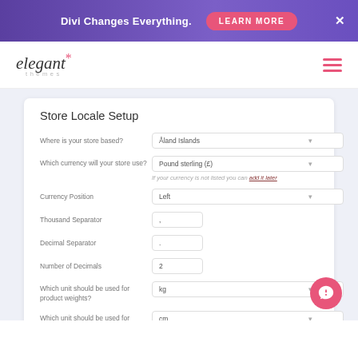[Figure (screenshot): Divi Changes Everything promotional banner with gradient purple background, pink Learn More button, and X close button]
[Figure (logo): Elegant Themes logo with italic text and pink asterisk, hamburger menu icon in pink]
Store Locale Setup
Where is your store based?
Åland Islands
Which currency will your store use?
Pound sterling (£)
If your currency is not listed you can add it later
Currency Position
Left
Thousand Separator
,
Decimal Separator
.
Number of Decimals
2
Which unit should be used for product weights?
kg
Which unit should be used for product dimensions?
cm